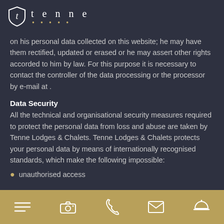[Figure (logo): Tenne logo with shield icon and five-star rating]
on his personal data collected on this website; he may have them rectified, updated or erased or he may assert other rights accorded to him by law. For this purpose it is necessary to contact the controller of the data processing or the processor by e-mail at .
Data Security
All the technical and organisational security measures required to protect the personal data from loss and abuse are taken by Tenne Lodges & Chalets. Tenne Lodges & Chalets protects your personal data by means of internationally recognised standards, which make the following impossible:
unauthorised access
Navigation icons: menu, camera, phone, email, concierge